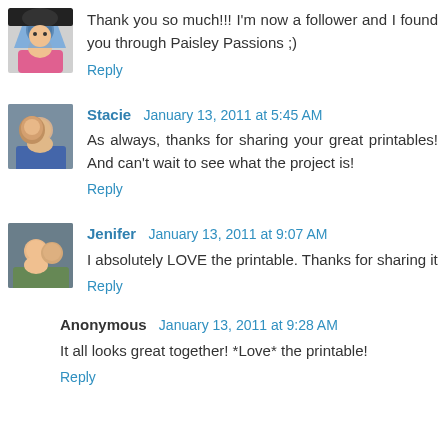Thank you so much!!! I'm now a follower and I found you through Paisley Passions ;)
Reply
Stacie  January 13, 2011 at 5:45 AM
As always, thanks for sharing your great printables! And can't wait to see what the project is!
Reply
Jenifer  January 13, 2011 at 9:07 AM
I absolutely LOVE the printable. Thanks for sharing it
Reply
Anonymous  January 13, 2011 at 9:28 AM
It all looks great together! *Love* the printable!
Reply